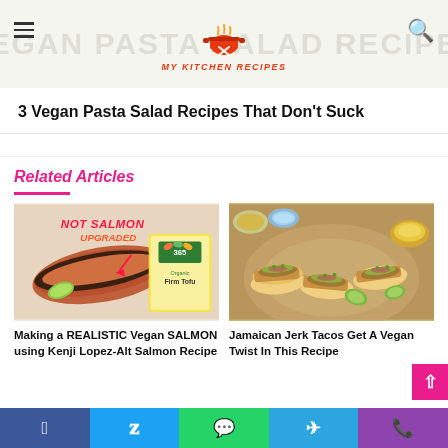My Kitchen Recipes - Vegan Pasta Salad Recipes
3 Vegan Pasta Salad Recipes That Don't Suck
Related Articles
[Figure (photo): Image of vegan salmon (seasoned tofu fillet) next to a 365 brand Organic Firm Tofu package, with text overlay 'NOT SALMON UPGRADED']
Making a REALISTIC Vegan SALMON using Kenji Lopez-Alt Salmon Recipe
[Figure (photo): Overhead shot of Jamaican jerk tacos on a wooden board with toppings and lime wedges]
Jamaican Jerk Tacos Get A Vegan Twist In This Recipe